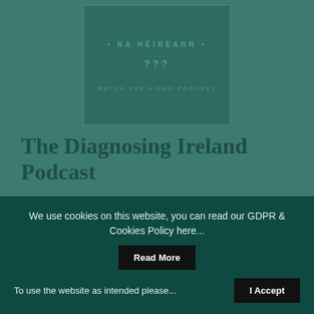[Figure (screenshot): Podcast thumbnail card with teal/dark green background showing text 'NA HÉIREANN ???' and 'WATCH THE VIDEO PODCAST']
The Diagnosing Ireland Podcast
Covid-19 has cast a spotlight on Ireland's health service like never before. The added pressure of a global pandemic has exposed cracks in the system that cannot be ignored. In this monthly show hosted by Yvonne Redmond, we hear untold stories and fresh perspectives from industry insiders, explore how Ireland compares to
We use cookies on this website, you can read our GDPR & Cookies Policy here...
Read More
To use the website as intended please...
I Accept